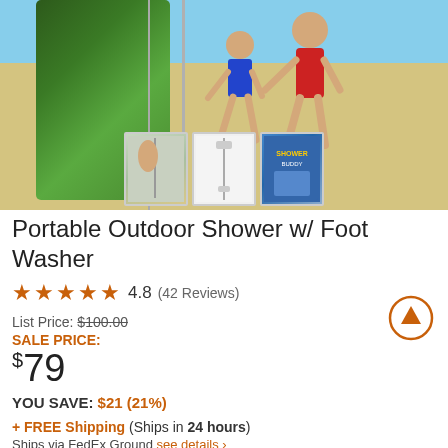[Figure (photo): Outdoor shower product photo showing two people near a portable shower pole, with tropical plants in background. Three thumbnail images below showing different product views.]
Portable Outdoor Shower w/ Foot Washer
★★★★★ 4.8 (42 Reviews)
List Price: $100.00
SALE PRICE: $79
YOU SAVE: $21 (21%)
+ FREE Shipping (Ships in 24 hours) Ships via FedEx Ground see details ›